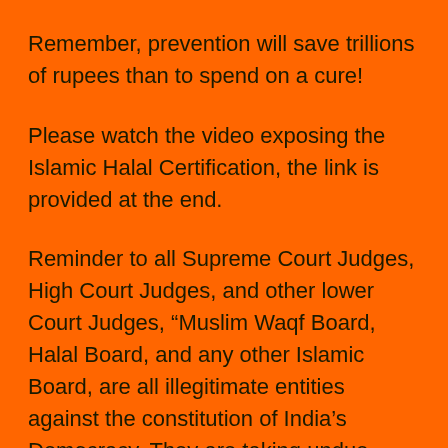Remember, prevention will save trillions of rupees than to spend on a cure!
Please watch the video exposing the Islamic Halal Certification, the link is provided at the end.
Reminder to all Supreme Court Judges, High Court Judges, and other lower Court Judges, “Muslim Waqf Board, Halal Board, and any other Islamic Board, are all illegitimate entities against the constitution of India’s Democracy. They are taking undue liberty under the constitution of India’s democratic principles to lead India to